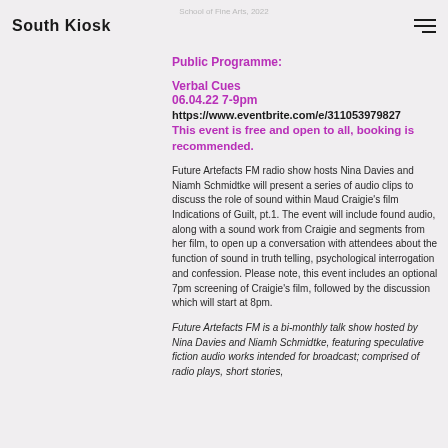South Kiosk
Public Programme:
Verbal Cues
06.04.22 7-9pm
https://www.eventbrite.com/e/311053979827
This event is free and open to all, booking is recommended.
Future Artefacts FM radio show hosts Nina Davies and Niamh Schmidtke will present a series of audio clips to discuss the role of sound within Maud Craigie's film Indications of Guilt, pt.1. The event will include found audio, along with a sound work from Craigie and segments from her film, to open up a conversation with attendees about the function of sound in truth telling, psychological interrogation and confession. Please note, this event includes an optional 7pm screening of Craigie's film, followed by the discussion which will start at 8pm.
Future Artefacts FM is a bi-monthly talk show hosted by Nina Davies and Niamh Schmidtke, featuring speculative fiction audio works intended for broadcast; comprised of radio plays, short stories,